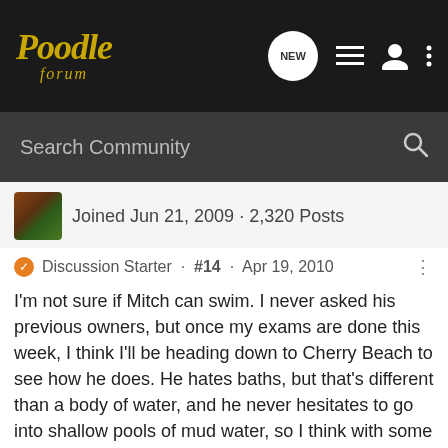Poodle forum
Search Community
Joined Jun 21, 2009 · 2,320 Posts
Discussion Starter · #14 · Apr 19, 2010
I'm not sure if Mitch can swim. I never asked his previous owners, but once my exams are done this week, I think I'll be heading down to Cherry Beach to see how he does. He hates baths, but that's different than a body of water, and he never hesitates to go into shallow pools of mud water, so I think with some practice he'll be a great swimmer. He's definitely got the legs for it.
I think I'll see if my friends want to go car camping this summer instead. Cuts down on the planning and packing, and Mitch can get a "dry" run and my friends can get accustomed to having a dog around.